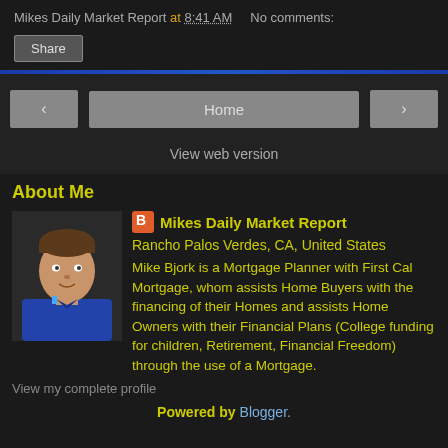Mikes Daily Market Report at 8:41 AM   No comments:
Share
< Home >
View web version
About Me
[Figure (photo): Profile photo of Mike Bjork]
Mikes Daily Market Report
Rancho Palos Verdes, CA, United States
Mike Bjork is a Mortgage Planner with First Cal Mortgage, whom assists Home Buyers with the financing of their Homes and assists Home Owners with their Financial Plans (College funding for children, Retirement, Financial Freedom) through the use of a Mortgage.
View my complete profile
Powered by Blogger.